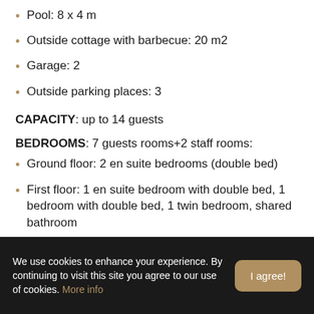Pool: 8 x 4 m
Outside cottage with barbecue: 20 m2
Garage: 2
Outside parking places: 3
CAPACITY: up to 14 guests
BEDROOMS: 7 guests rooms+2 staff rooms:
Ground floor: 2 en suite bedrooms (double bed)
First floor: 1 en suite bedroom with double bed, 1 bedroom with double bed, 1 twin bedroom, shared bathroom
We use cookies to enhance your experience. By continuing to visit this site you agree to our use of cookies. More info